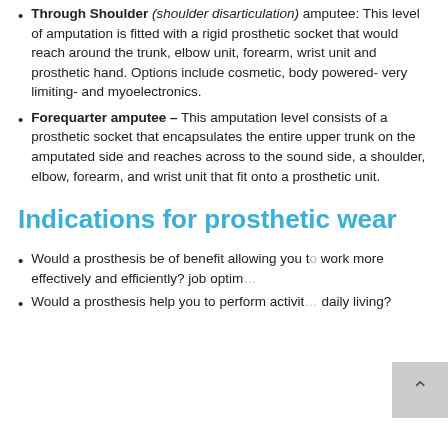Through Shoulder (shoulder disarticulation) amputee: This level of amputation is fitted with a rigid prosthetic socket that would reach around the trunk, elbow unit, forearm, wrist unit and prosthetic hand. Options include cosmetic, body powered- very limiting- and myoelectronics.
Forequarter amputee – This amputation level consists of a prosthetic socket that encapsulates the entire upper trunk on the amputated side and reaches across to the sound side, a shoulder, elbow, forearm, and wrist unit that fit onto a prosthetic unit.
Indications for prosthetic wear
Would a prosthesis be of benefit allowing you to work more effectively and efficiently? job optim…
Would a prosthesis help you to perform activit… daily living?